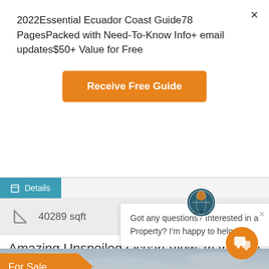2022Essential Ecuador Coast Guide78 PagesPacked with Need-To-Know Info+ email updates$50+ Value for Free
Receive Free Guide
Details
40289 sqft
Amazing Unspoiled Ocean Views from this Lot
FEATURED
Got any questions? Interested in a Property? I'm happy to help.
For Sale